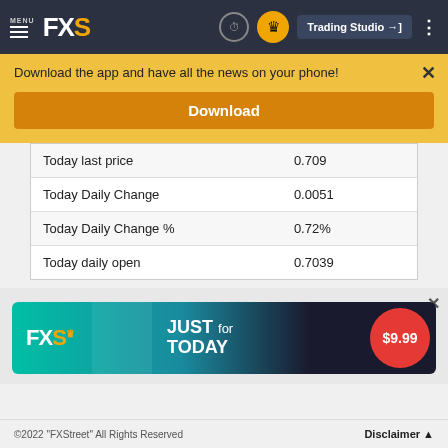MENU FXS | Trading Studio
Download the app and have all the news on your phone!
Download
|  |  |
| --- | --- |
| Today last price | 0.709 |
| Today Daily Change | 0.0051 |
| Today Daily Change % | 0.72% |
| Today daily open | 0.7039 |
[Figure (infographic): FXS promotional banner: FXS crown logo, person with megaphone, text 'JUST for TODAY $9.99' in red circle]
©2022 "FXStreet" All Rights Reserved   Disclaimer ▲